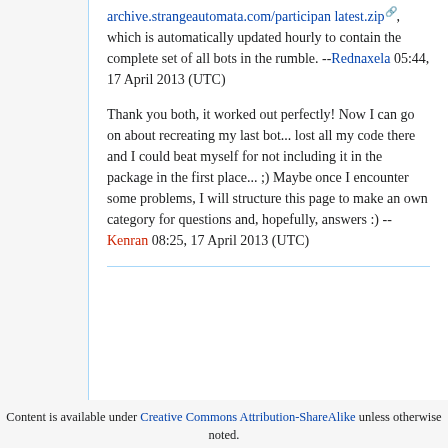archive.strangeautomata.com/participan latest.zip, which is automatically updated hourly to contain the complete set of all bots in the rumble. --Rednaxela 05:44, 17 April 2013 (UTC)
Thank you both, it worked out perfectly! Now I can go on about recreating my last bot... lost all my code there and I could beat myself for not including it in the package in the first place... ;) Maybe once I encounter some problems, I will structure this page to make an own category for questions and, hopefully, answers :) --Kenran 08:25, 17 April 2013 (UTC)
Content is available under Creative Commons Attribution-ShareAlike unless otherwise noted.